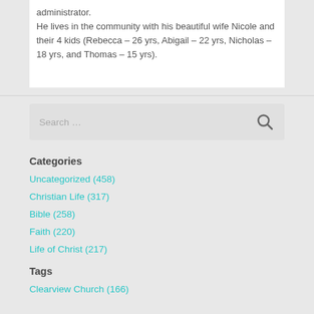administrator.
He lives in the community with his beautiful wife Nicole and their 4 kids (Rebecca – 26 yrs, Abigail – 22 yrs, Nicholas – 18 yrs, and Thomas – 15 yrs).
[Figure (other): Search box with placeholder text 'Search ...' and a magnifying glass icon]
Categories
Uncategorized (458)
Christian Life (317)
Bible (258)
Faith (220)
Life of Christ (217)
Tags
Clearview Church (166)